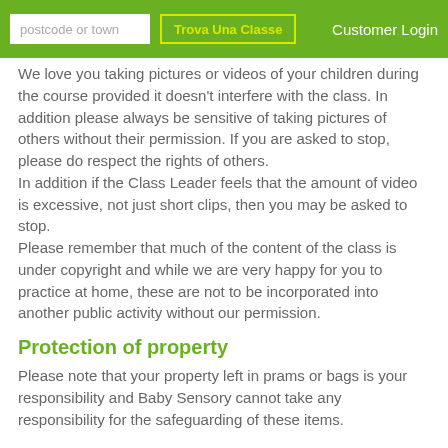postcode or town | Trova Una Classe | Customer Login
We love you taking pictures or videos of your children during the course provided it doesn't interfere with the class. In addition please always be sensitive of taking pictures of others without their permission. If you are asked to stop, please do respect the rights of others. In addition if the Class Leader feels that the amount of video is excessive, not just short clips, then you may be asked to stop. Please remember that much of the content of the class is under copyright and while we are very happy for you to practice at home, these are not to be incorporated into another public activity without our permission.
Protection of property
Please note that your property left in prams or bags is your responsibility and Baby Sensory cannot take any responsibility for the safeguarding of these items.